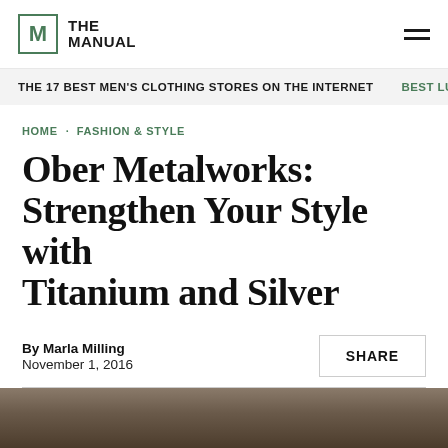THE MANUAL
THE 17 BEST MEN'S CLOTHING STORES ON THE INTERNET   BEST LUXU
HOME · FASHION & STYLE
Ober Metalworks: Strengthen Your Style with Titanium and Silver
By Marla Milling
November 1, 2016
SHARE
[Figure (photo): Bottom strip showing partial photo of a person, dark tones, seen from top-down]